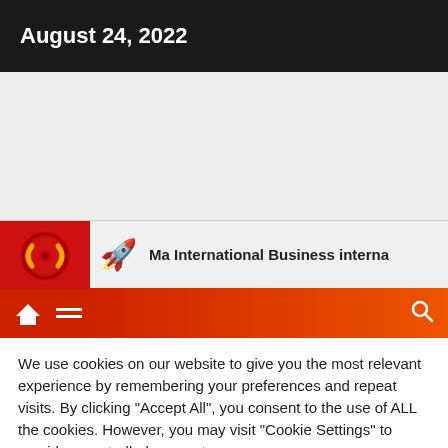August 24, 2022
[Figure (screenshot): Gray empty content area of a website]
[Figure (logo): Website header with red logo box containing circular icon, airplane/travel emoji icon, and bold text: Ma International Business international busin]
[Figure (screenshot): Orange/red gradient navigation bar with white home icon, menu hamburger icon, and search icon]
We use cookies on our website to give you the most relevant experience by remembering your preferences and repeat visits. By clicking "Accept All", you consent to the use of ALL the cookies. However, you may visit "Cookie Settings" to provide a controlled consent.
Cookie Settings | Accept All